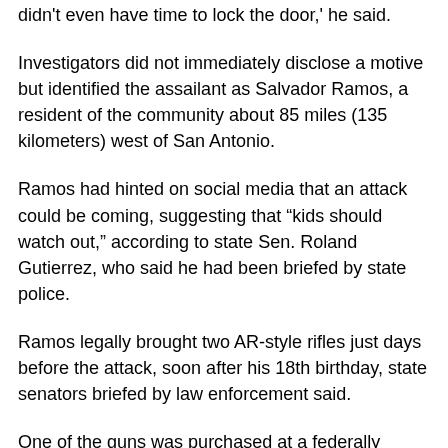didn't even have time to lock the door,' he said.
Investigators did not immediately disclose a motive but identified the assailant as Salvador Ramos, a resident of the community about 85 miles (135 kilometers) west of San Antonio.
Ramos had hinted on social media that an attack could be coming, suggesting that “kids should watch out,” according to state Sen. Roland Gutierrez, who said he had been briefed by state police.
Ramos legally brought two AR-style rifles just days before the attack, soon after his 18th birthday, state senators briefed by law enforcement said.
One of the guns was purchased at a federally licensed dealer in the Uvalde area on May 17, according to Sen. John Whitmire. Ramos bought 375 rounds of ammunition the next day, then purchased the second rifle on May 20.